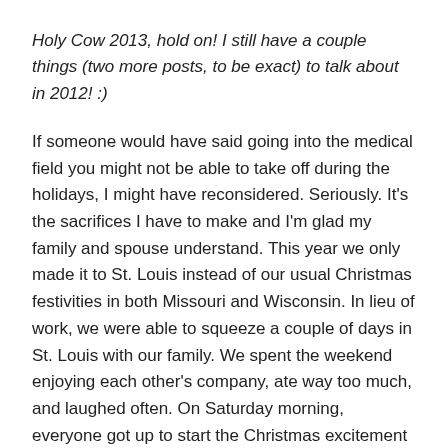Holy Cow 2013, hold on! I still have a couple things (two more posts, to be exact) to talk about in 2012! :)
If someone would have said going into the medical field you might not be able to take off during the holidays, I might have reconsidered. Seriously. It's the sacrifices I have to make and I'm glad my family and spouse understand. This year we only made it to St. Louis instead of our usual Christmas festivities in both Missouri and Wisconsin. In lieu of work, we were able to squeeze a couple of days in St. Louis with our family. We spent the weekend enjoying each other's company, ate way too much, and laughed often. On Saturday morning, everyone got up to start the Christmas excitement of opening presents and climbing on presents.